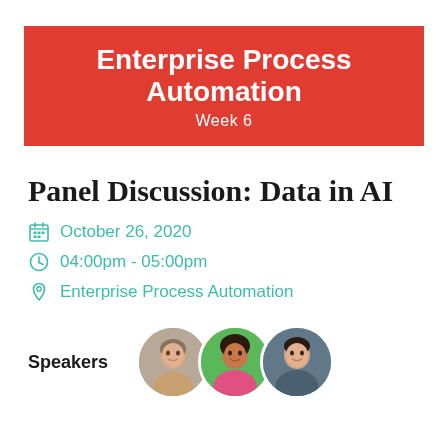Enterprise Process Automation
Week 6
Panel Discussion: Data in AI
October 26, 2020
04:00pm - 05:00pm
Enterprise Process Automation
Speakers